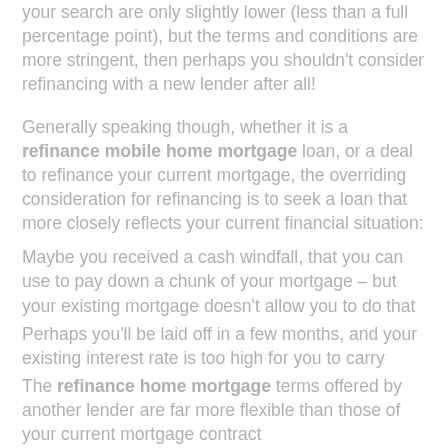your search are only slightly lower (less than a full percentage point), but the terms and conditions are more stringent, then perhaps you shouldn't consider refinancing with a new lender after all!
Generally speaking though, whether it is a refinance mobile home mortgage loan, or a deal to refinance your current mortgage, the overriding consideration for refinancing is to seek a loan that more closely reflects your current financial situation:
Maybe you received a cash windfall, that you can use to pay down a chunk of your mortgage – but your existing mortgage doesn't allow you to do that
Perhaps you'll be laid off in a few months, and your existing interest rate is too high for you to carry
The refinance home mortgage terms offered by another lender are far more flexible than those of your current mortgage contract
All of these factors need to be considered when deciding when is it worth it to refinance your mortgage. But